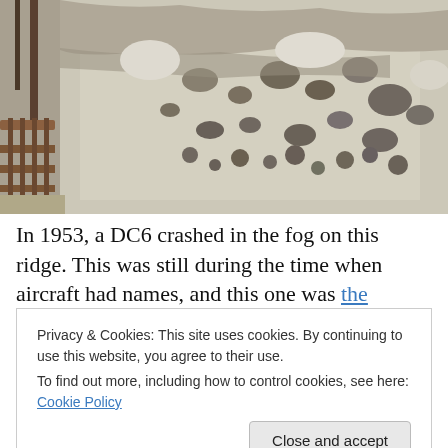[Figure (photo): Photograph of eroded sandstone rock face with honeycomb weathering patterns along a walkway with a wooden railing on the left side and trees visible in the background.]
In 1953, a DC6 crashed in the fog on this ridge. This was still during the time when aircraft had names, and this one was the Resolution. So the trail that runs past the site is
Privacy & Cookies: This site uses cookies. By continuing to use this website, you agree to their use.
To find out more, including how to control cookies, see here: Cookie Policy